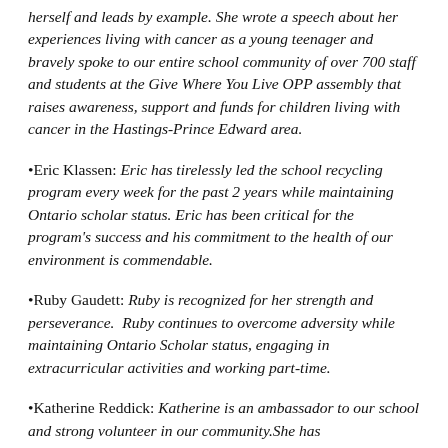herself and leads by example. She wrote a speech about her experiences living with cancer as a young teenager and bravely spoke to our entire school community of over 700 staff and students at the Give Where You Live OPP assembly that raises awareness, support and funds for children living with cancer in the Hastings-Prince Edward area.
•Eric Klassen: Eric has tirelessly led the school recycling program every week for the past 2 years while maintaining Ontario scholar status. Eric has been critical for the program's success and his commitment to the health of our environment is commendable.
•Ruby Gaudett: Ruby is recognized for her strength and perseverance.  Ruby continues to overcome adversity while maintaining Ontario Scholar status, engaging in extracurricular activities and working part-time.
•Katherine Reddick: Katherine is an ambassador to our school and strong volunteer in our community.She has